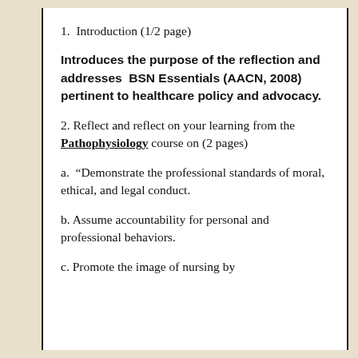1.  Introduction (1/2 page)
Introduces the purpose of the reflection and addresses  BSN Essentials (AACN, 2008) pertinent to healthcare policy and advocacy.
2. Reflect and reflect on your learning from the Pathophysiology course on (2 pages)
a.  “Demonstrate the professional standards of moral, ethical, and legal conduct.
b. Assume accountability for personal and professional behaviors.
c. Promote the image of nursing by